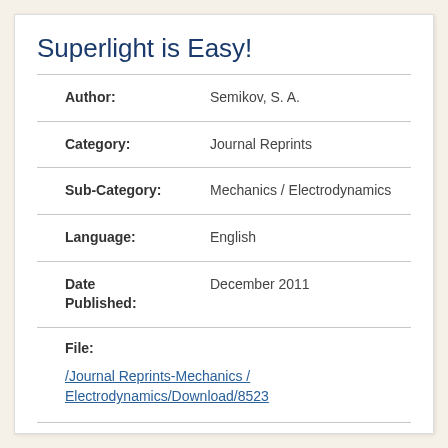Superlight is Easy!
| Field | Value |
| --- | --- |
| Author: | Semikov, S. A. |
| Category: | Journal Reprints |
| Sub-Category: | Mechanics / Electrodynamics |
| Language: | English |
| Date Published: | December 2011 |
| File: | /Journal Reprints-Mechanics / Electrodynamics/Download/8523 |